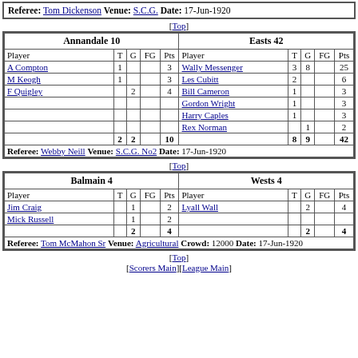Referee: Tom Dickenson Venue: S.C.G. Date: 17-Jun-1920
[Top]
| Annandale 10 |  |  |  |  | Easts 42 |  |  |  |  |
| --- | --- | --- | --- | --- | --- | --- | --- | --- | --- |
| Player | T | G | FG | Pts | Player | T | G | FG | Pts |
| A Compton | 1 |  |  | 3 | Wally Messenger | 3 | 8 |  | 25 |
| M Keogh | 1 |  |  | 3 | Les Cubitt | 2 |  |  | 6 |
| F Quigley |  | 2 |  | 4 | Bill Cameron | 1 |  |  | 3 |
|  |  |  |  |  | Gordon Wright | 1 |  |  | 3 |
|  |  |  |  |  | Harry Caples | 1 |  |  | 3 |
|  |  |  |  |  | Rex Norman |  | 1 |  | 2 |
|  | 2 | 2 |  | 10 |  | 8 | 9 |  | 42 |
Referee: Webby Neill Venue: S.C.G. No2 Date: 17-Jun-1920
[Top]
| Balmain 4 |  |  |  |  | Wests 4 |  |  |  |  |
| --- | --- | --- | --- | --- | --- | --- | --- | --- | --- |
| Player | T | G | FG | Pts | Player | T | G | FG | Pts |
| Jim Craig |  | 1 |  | 2 | Lyall Wall |  | 2 |  | 4 |
| Mick Russell |  | 1 |  | 2 |  |  |  |  |  |
|  |  | 2 |  | 4 |  |  | 2 |  | 4 |
Referee: Tom McMahon Sr Venue: Agricultural Crowd: 12000 Date: 17-Jun-1920
[Top]
[Scorers Main][League Main]